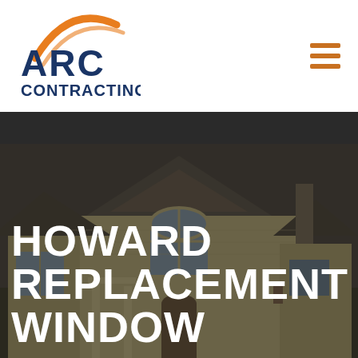[Figure (logo): ARC Contracting logo with orange arc graphic above dark navy text]
[Figure (other): Hamburger menu icon with three orange horizontal lines]
CALL US
888-743-8086
SCHEDULE AN
APPOINTMENT
[Figure (photo): Exterior photo of a two-story residential home with pitched roofs and arched window, darkened overlay]
HOWARD REPLACEMENT WINDOW